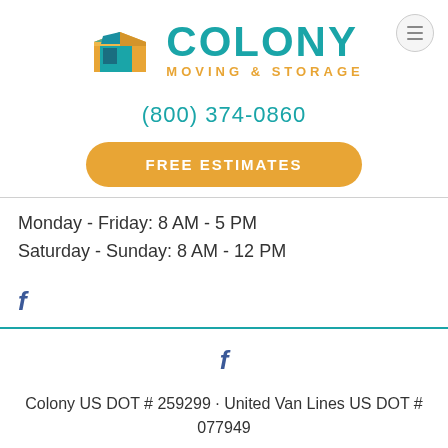[Figure (logo): Colony Moving & Storage logo with a box icon in teal and gold colors, and the text COLONY MOVING & STORAGE]
(800) 374-0860
FREE ESTIMATES
Monday - Friday: 8 AM - 5 PM
Saturday - Sunday: 8 AM - 12 PM
[Figure (illustration): Facebook icon (lowercase f) in blue]
[Figure (illustration): Facebook icon (lowercase f) in blue in footer]
Colony US DOT # 259299 · United Van Lines US DOT # 077949